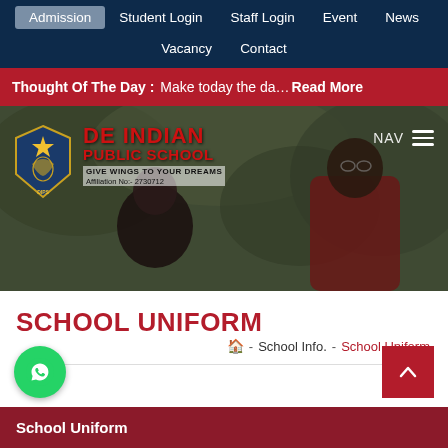Admission | Student Login | Staff Login | Event | News | Vacancy | Contact
Thought Of The Day : Make today the da… Read More
[Figure (screenshot): DE Indian Public School hero banner with school logo, name 'DE INDIAN PUBLIC SCHOOL', tagline 'GIVE WINGS TO YOUR DREAMS', Affiliation No:- 2730712, DIPS label, NAV hamburger menu, and background photo of smiling students and teacher]
SCHOOL UNIFORM
Home - School Info. - School Uniform
School Uniform